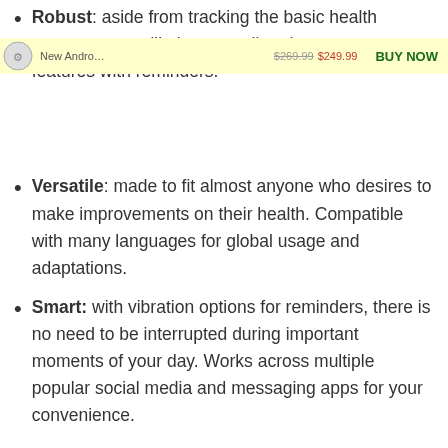Robust: aside from tracking the basic health patterns, you will also get call and message features with reminders.
Versatile: made to fit almost anyone who desires to make improvements on their health. Compatible with many languages for global usage and adaptations.
Smart: with vibration options for reminders, there is no need to be interrupted during important moments of your day. Works across multiple popular social media and messaging apps for your convenience.
Worry-Free: we guarantee your 100% satisfaction of this watch or your money back. So be confident this will be an essential part of your health routine